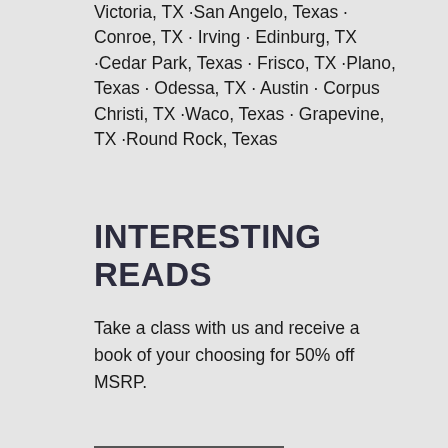Victoria, TX ·San Angelo, Texas · Conroe, TX · Irving · Edinburg, TX ·Cedar Park, Texas · Frisco, TX ·Plano, Texas · Odessa, TX · Austin · Corpus Christi, TX ·Waco, Texas · Grapevine, TX ·Round Rock, Texas
INTERESTING READS
Take a class with us and receive a book of your choosing for 50% off MSRP.